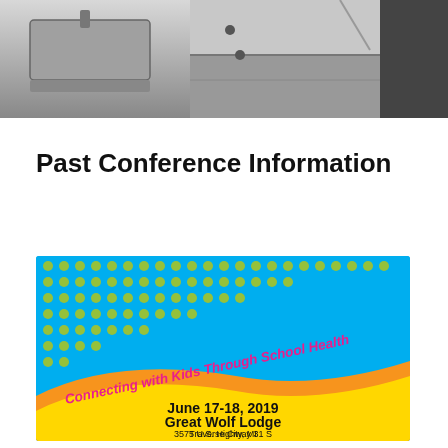[Figure (photo): Black and white close-up photo of what appears to be metal chairs or furniture from above]
Past Conference Information
[Figure (infographic): Conference banner with cyan/blue background with yellow dot pattern, curved yellow and orange wave design, text reading 'Connecting with Kids Through School Health' in pink italic, 'June 17-18, 2019', 'Great Wolf Lodge', '3575 U.S. Highway 31 S', 'Traverse City, MI']